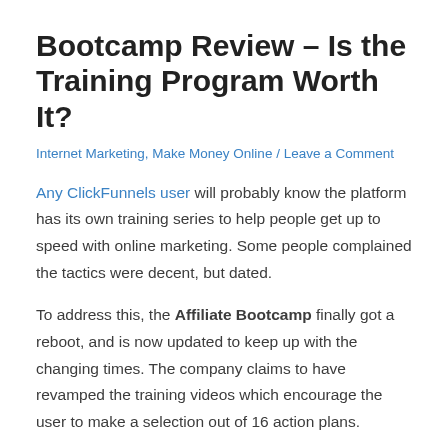Bootcamp Review – Is the Training Program Worth It?
Internet Marketing, Make Money Online / Leave a Comment
Any ClickFunnels user will probably know the platform has its own training series to help people get up to speed with online marketing. Some people complained the tactics were decent, but dated.
To address this, the Affiliate Bootcamp finally got a reboot, and is now updated to keep up with the changing times. The company claims to have revamped the training videos which encourage the user to make a selection out of 16 action plans.